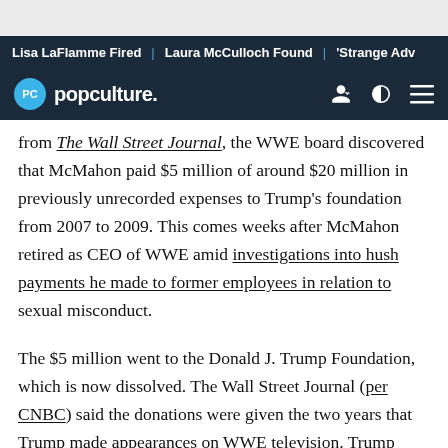Lisa LaFlamme Fired | Laura McCulloch Found | 'Strange Adv...
PC popculture.
from The Wall Street Journal, the WWE board discovered that McMahon paid $5 million of around $20 million in previously unrecorded expenses to Trump's foundation from 2007 to 2009. This comes weeks after McMahon retired as CEO of WWE amid investigations into hush payments he made to former employees in relation to sexual misconduct.
The $5 million went to the Donald J. Trump Foundation, which is now dissolved. The Wall Street Journal (per CNBC) said the donations were given the two years that Trump made appearances on WWE television. Trump dissolved the